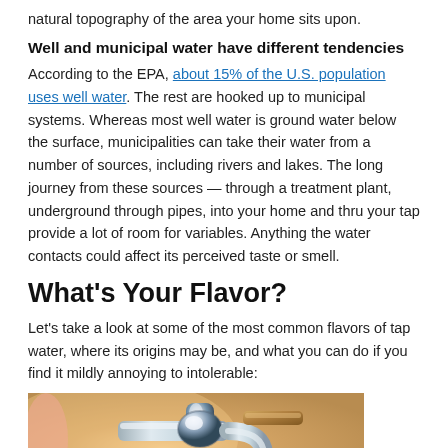natural topography of the area your home sits upon.
Well and municipal water have different tendencies
According to the EPA, about 15% of the U.S. population uses well water. The rest are hooked up to municipal systems. Whereas most well water is ground water below the surface, municipalities can take their water from a number of sources, including rivers and lakes. The long journey from these sources — through a treatment plant, underground through pipes, into your home and thru your tap provide a lot of room for variables. Anything the water contacts could affect its perceived taste or smell.
What's Your Flavor?
Let's take a look at some of the most common flavors of tap water, where its origins may be, and what you can do if you find it mildly annoying to intolerable:
[Figure (photo): Close-up photograph of a chrome kitchen faucet with a blurred warm-toned background]